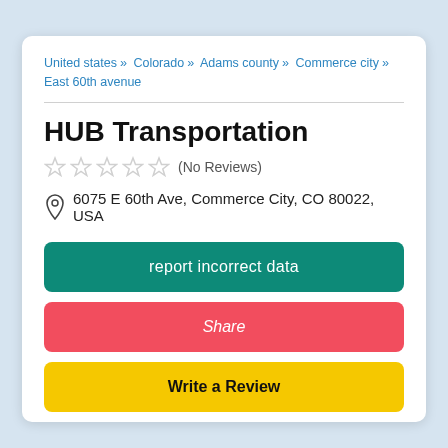United states » Colorado » Adams county » Commerce city » East 60th avenue
HUB Transportation
★★★★★ (No Reviews)
6075 E 60th Ave, Commerce City, CO 80022, USA
report incorrect data
Share
Write a Review